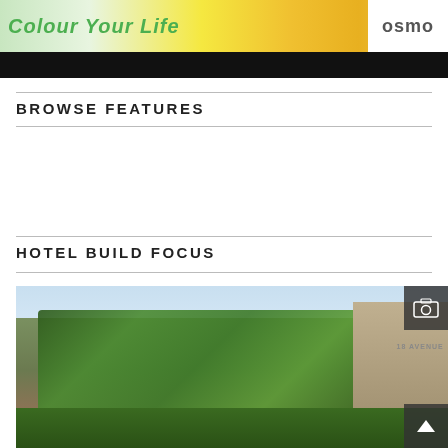[Figure (photo): Banner advertisement with 'Colour Your Life' text in green italic font over colorful paint can lids background, with Osmo logo badge in top right corner]
BROWSE FEATURES
HOTEL BUILD FOCUS
[Figure (photo): Exterior photograph of a hotel building covered in lush green vertical garden vegetation, with classic Haussmann-style buildings visible on the left and 18 Avenue text on right building, blue sky background, street level with trees and a street lamp in foreground]